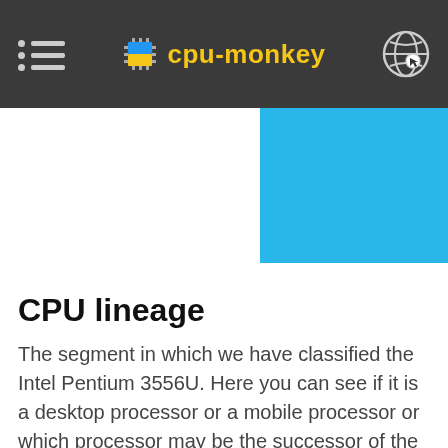cpu-monkey
[Figure (bar-chart): Partial bar chart showing blue bars, cropped at top of visible area]
CPU lineage
The segment in which we have classified the Intel Pentium 3556U. Here you can see if it is a desktop processor or a mobile processor or which processor may be the successor of the Intel Pentium 3556U.
| Name: | Intel Pentium 3556U |
| --- | --- |